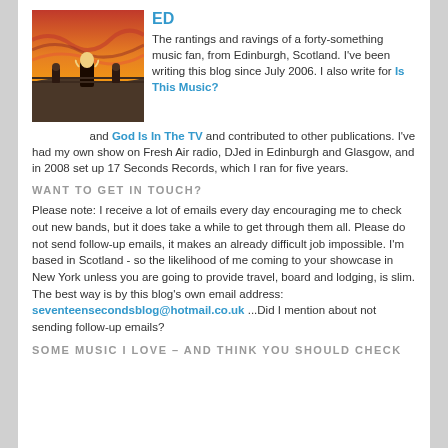ED
The rantings and ravings of a forty-something music fan, from Edinburgh, Scotland. I've been writing this blog since July 2006. I also write for Is This Music? and God Is In The TV and contributed to other publications. I've had my own show on Fresh Air radio, DJed in Edinburgh and Glasgow, and in 2008 set up 17 Seconds Records, which I ran for five years.
WANT TO GET IN TOUCH?
Please note: I receive a lot of emails every day encouraging me to check out new bands, but it does take a while to get through them all. Please do not send follow-up emails, it makes an already difficult job impossible. I'm based in Scotland - so the likelihood of me coming to your showcase in New York unless you are going to provide travel, board and lodging, is slim. The best way is by this blog's own email address: seventeensecondsblog@hotmail.co.uk ...Did I mention about not sending follow-up emails?
SOME MUSIC I LOVE – AND THINK YOU SHOULD CHECK